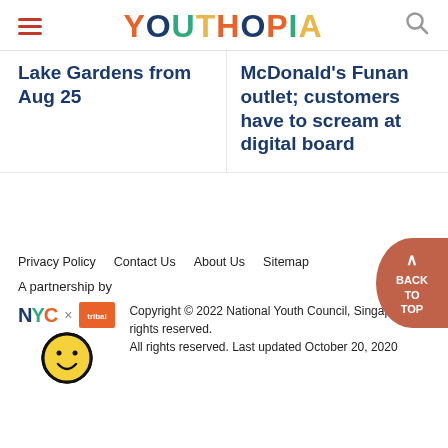YOUTHOPIA
Lake Gardens from Aug 25
McDonald's Funan outlet; customers have to scream at digital board
Privacy Policy   Contact Us   About Us   Sitemap
A partnership by
Copyright © 2022 National Youth Council, Singapore. All rights reserved. All rights reserved. Last updated October 20, 2020